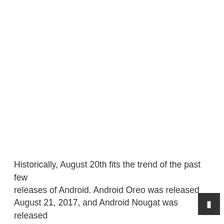Historically, August 20th fits the trend of the past few releases of Android.  Android Oreo was released August 21, 2017, and Android Nougat was released...